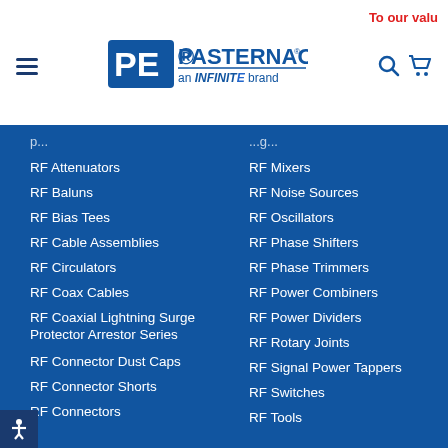To our valu
[Figure (logo): Pasternack logo - PE logo mark with 'PASTERNACK an INFINITE brand' text]
RF Attenuators
RF Mixers
RF Baluns
RF Noise Sources
RF Bias Tees
RF Oscillators
RF Cable Assemblies
RF Phase Shifters
RF Circulators
RF Phase Trimmers
RF Coax Cables
RF Power Combiners
RF Coaxial Lightning Surge Protector Arrestor Series
RF Power Dividers
RF Rotary Joints
RF Connector Dust Caps
RF Signal Power Tappers
RF Connector Shorts
RF Switches
RF Connectors
RF Tools